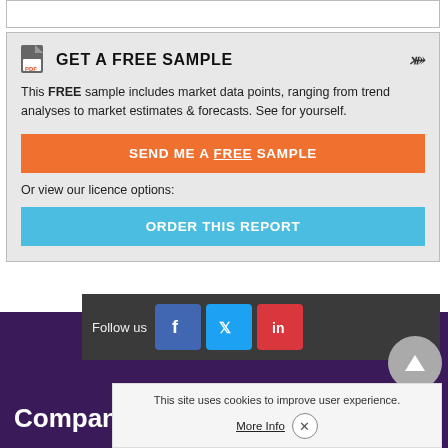GET A FREE SAMPLE
This FREE sample includes market data points, ranging from trend analyses to market estimates & forecasts. See for yourself.
SEND ME A FREE SAMPLE
Or view our licence options:
ORDER THIS REPORT
Follow us
Company
This site uses cookies to improve user experience.
More Info